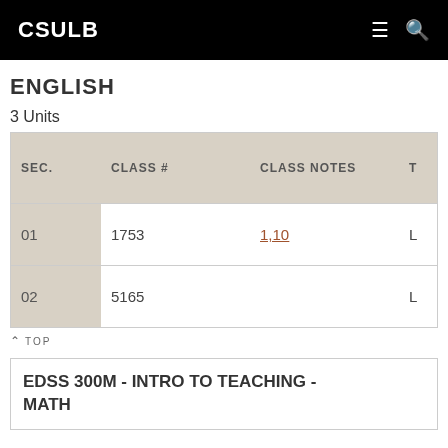CSULB
ENGLISH
3 Units
| SEC. | CLASS # | CLASS NOTES | T |
| --- | --- | --- | --- |
| 01 | 1753 | 1,10 | L |
| 02 | 5165 |  | L |
TOP
EDSS 300M - INTRO TO TEACHING - MATH